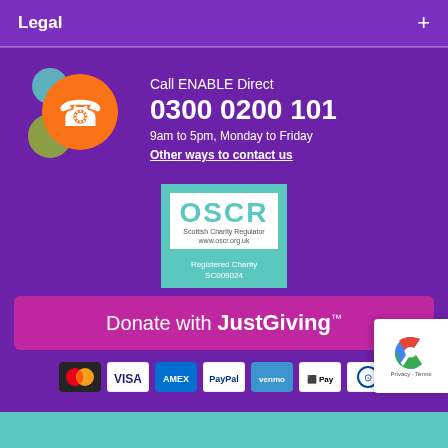Legal +
[Figure (illustration): ENABLE Scotland phone icon with coloured circles (teal, orange with white phone handset, olive green)]
Call ENABLE Direct
0300 0200 101
9am to 5pm, Monday to Friday
Other ways to contact us
[Figure (logo): OSCR Scottish Charity Regulator badge. www.oscr.org.uk. Registered Charity SC009024]
Donate with JustGiving
[Figure (infographic): Payment method icons: Mastercard, VISA, American Express, PayPal, Venmo, Apple Pay, Diners Club]